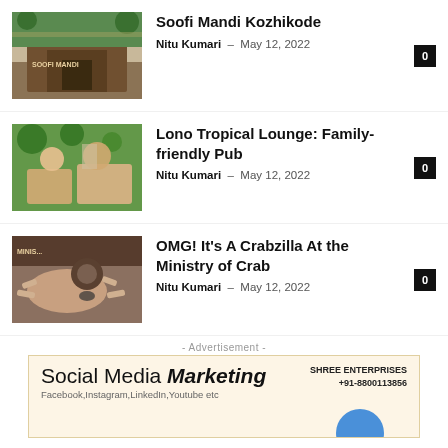[Figure (photo): Exterior photo of Soofi Mandi Kozhikode restaurant building]
Soofi Mandi Kozhikode
Nitu Kumari - May 12, 2022
[Figure (photo): People dining at Lono Tropical Lounge restaurant]
Lono Tropical Lounge: Family-friendly Pub
Nitu Kumari - May 12, 2022
[Figure (photo): Person holding a large crab at Ministry of Crab restaurant]
OMG! It's A Crabzilla At the Ministry of Crab
Nitu Kumari - May 12, 2022
- Advertisement -
[Figure (infographic): Advertisement for Shree Enterprises Social Media Marketing. Text: SHREE ENTERPRISES +91-8800113856. Social Media Marketing. Facebook, Instagram, LinkedIn, Youtube etc]